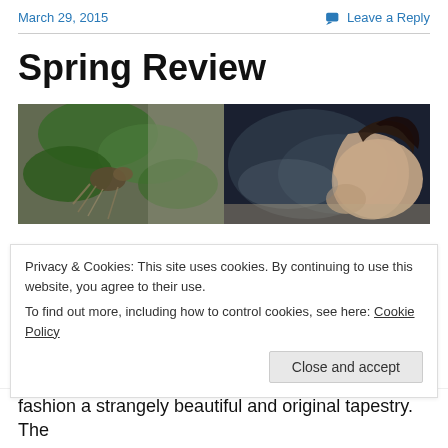March 29, 2015   Leave a Reply
Spring Review
[Figure (photo): Two-panel composite photo: left side shows a bird among green foliage against a stone wall; right side shows the bare back of a person with long dark hair in a dark misty setting.]
Privacy & Cookies: This site uses cookies. By continuing to use this website, you agree to their use.
To find out more, including how to control cookies, see here: Cookie Policy
Close and accept
fashion a strangely beautiful and original tapestry. The